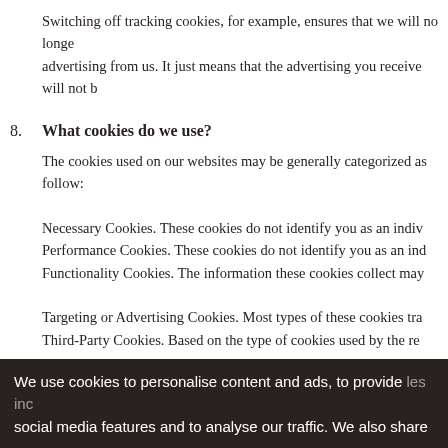Switching off tracking cookies, for example, ensures that we will no longer target advertising from us. It just means that the advertising you receive will not be
8. What cookies do we use?
The cookies used on our websites may be generally categorized as follow:
Necessary Cookies. These cookies do not identify you as an indiv
Performance Cookies. These cookies do not identify you as an ind
Functionality Cookies. The information these cookies collect may
Targeting or Advertising Cookies. Most types of these cookies tra
Third-Party Cookies. Based on the type of cookies used by the re
The cookies used on our websites may be generally categorized as follow:
Strictly Necessary Cookies. These cookies are essential to make o
We use cookies to personalise content and ads, to provide social media features and to analyse our traffic. We also share